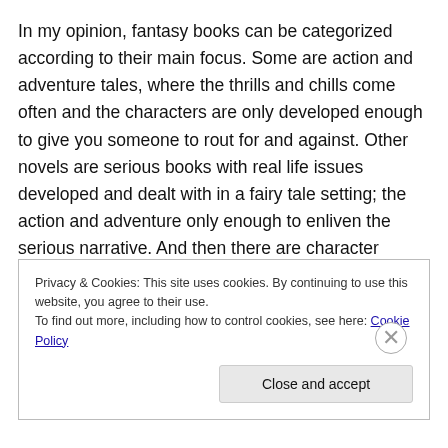In my opinion, fantasy books can be categorized according to their main focus. Some are action and adventure tales, where the thrills and chills come often and the characters are only developed enough to give you someone to rout for and against. Other novels are serious books with real life issues developed and dealt with in a fairy tale setting; the action and adventure only enough to enliven the serious narrative. And then there are character driven stories, where one person is carefully crafted,
Privacy & Cookies: This site uses cookies. By continuing to use this website, you agree to their use.
To find out more, including how to control cookies, see here: Cookie Policy
Close and accept